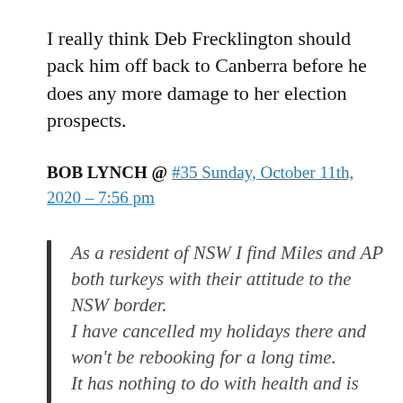I really think Deb Frecklington should pack him off back to Canberra before he does any more damage to her election prospects.
BOB LYNCH @ #35 Sunday, October 11th, 2020 – 7:56 pm
As a resident of NSW I find Miles and AP both turkeys with their attitude to the NSW border.
I have cancelled my holidays there and won't be rebooking for a long time.
It has nothing to do with health and is purely political.
The Tasmanian premier who can't pronounce his name is in the same…